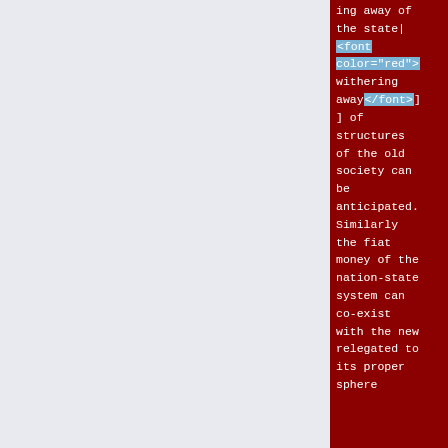ing away of the state| <font color="red"> withering away</font>] ] of structures of the old society can be anticipated. Similarly the fiat money of the nation-state system can co-exist with the new relegated to its proper sphere